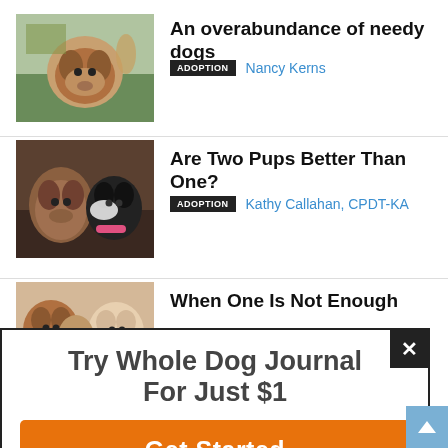[Figure (photo): Two dogs outdoors on grass, one puppy looking at camera]
An overabundance of needy dogs
ADOPTION  Nancy Kerns
[Figure (photo): Two dogs side by side, one brown brindle and one black and white Boston terrier type]
Are Two Pups Better Than One?
ADOPTION  Kathy Callahan, CPDT-KA
[Figure (photo): Dogs visible from above, partial view]
When One Is Not Enough
ADOPTION  Pat Miller, CBCC-KA, CPDT-KA
Try Whole Dog Journal For Just $1
Get Started